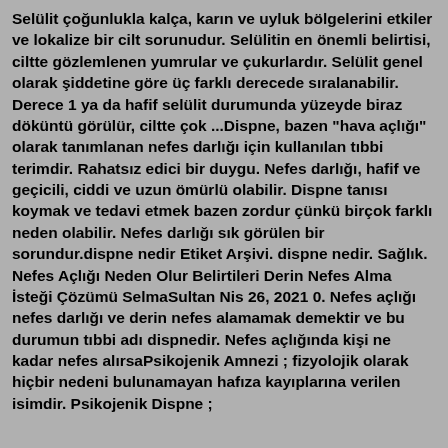Selülit çoğunlukla kalça, karın ve uyluk bölgelerini etkiler ve lokalize bir cilt sorunudur. Selülitin en önemli belirtisi, ciltte gözlemlenen yumrular ve çukurlardır. Selülit genel olarak şiddetine göre üç farklı derecede sıralanabilir. Derece 1 ya da hafif selülit durumunda yüzeyde biraz döküntü görülür, ciltte çok ...Dispne, bazen "hava açlığı" olarak tanımlanan nefes darlığı için kullanılan tıbbi terimdir. Rahatsız edici bir duygu. Nefes darlığı, hafif ve geçicili, ciddi ve uzun ömürlü olabilir. Dispne tanısı koymak ve tedavi etmek bazen zordur çünkü birçok farklı neden olabilir. Nefes darlığı sık görülen bir sorundur.dispne nedir Etiket Arşivi. dispne nedir. Sağlık. Nefes Açlığı Neden Olur Belirtileri Derin Nefes Alma İsteği Çözümü SelmaSultan Nis 26, 2021 0. Nefes açlığı nefes darlığı ve derin nefes alamamak demektir ve bu durumun tıbbi adı dispnedir. Nefes açlığında kişi ne kadar nefes alırsaPsikojenik Amnezi ; fizyolojik olarak hiçbir nedeni bulunamayan hafıza kayıplarına verilen isimdir. Psikojenik Dispne ;